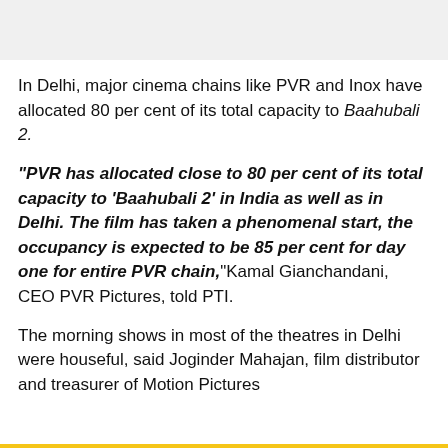In Delhi, major cinema chains like PVR and Inox have allocated 80 per cent of its total capacity to Baahubali 2.
"PVR has allocated close to 80 per cent of its total capacity to 'Baahubali 2' in India as well as in Delhi. The film has taken a phenomenal start, the occupancy is expected to be 85 per cent for day one for entire PVR chain," Kamal Gianchandani, CEO PVR Pictures, told PTI.
The morning shows in most of the theatres in Delhi were houseful, said Joginder Mahajan, film distributor and treasurer of Motion Pictures